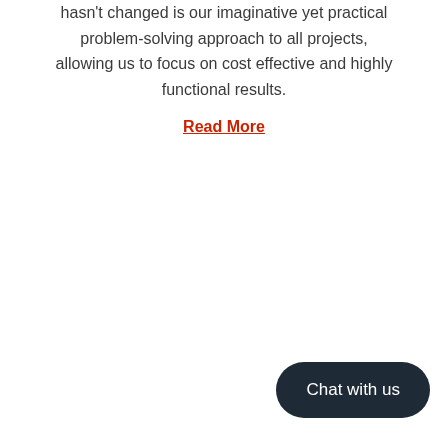hasn't changed is our imaginative yet practical problem-solving approach to all projects, allowing us to focus on cost effective and highly functional results.
Read More
Chat with us